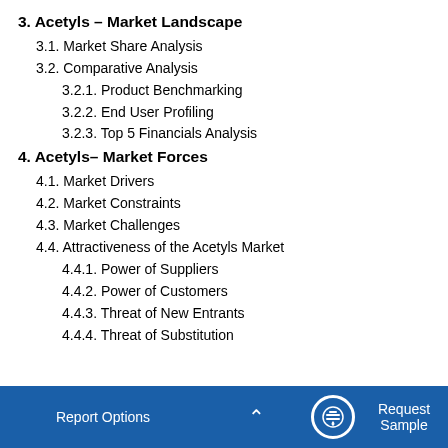3. Acetyls – Market Landscape
3.1. Market Share Analysis
3.2. Comparative Analysis
3.2.1. Product Benchmarking
3.2.2. End User Profiling
3.2.3. Top 5 Financials Analysis
4. Acetyls– Market Forces
4.1. Market Drivers
4.2. Market Constraints
4.3. Market Challenges
4.4. Attractiveness of the Acetyls Market
4.4.1. Power of Suppliers
4.4.2. Power of Customers
4.4.3. Threat of New Entrants
4.4.4. Threat of Substitution
Report Options   ∧   Request Sample